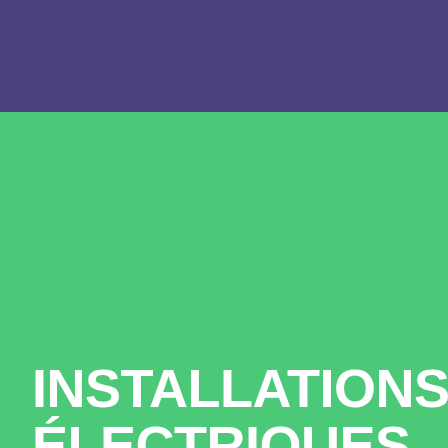[Figure (other): Purple decorative header bar at top of page]
INSTALLATIONS ÉLECTRIQUES
Par rapport de son emploi, l'électricienne professionnelle arrange du fourbi, orchestre son transport et sa livraison dans le hangar du local en